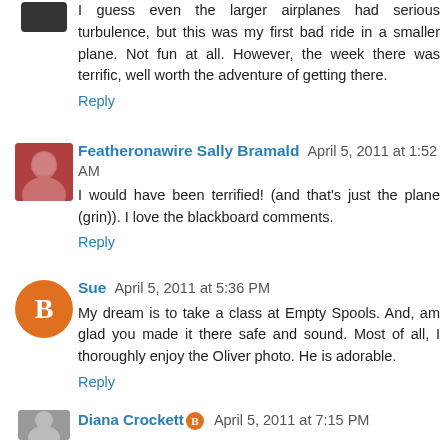I guess even the larger airplanes had serious turbulence, but this was my first bad ride in a smaller plane. Not fun at all. However, the week there was terrific, well worth the adventure of getting there.
Reply
[Figure (photo): Avatar photo of Featheronawire Sally Bramald - person with red hair]
Featheronawire Sally Bramald  April 5, 2011 at 1:52 AM
I would have been terrified! (and that's just the plane (grin)). I love the blackboard comments.
Reply
[Figure (logo): Blogger B logo - orange circle with B]
Sue  April 5, 2011 at 5:36 PM
My dream is to take a class at Empty Spools. And, am glad you made it there safe and sound. Most of all, I thoroughly enjoy the Oliver photo. He is adorable.
Reply
[Figure (photo): Partial avatar photo at bottom of page]
Diana Crockett(?)  April 5, 2011 at 7:15 PM